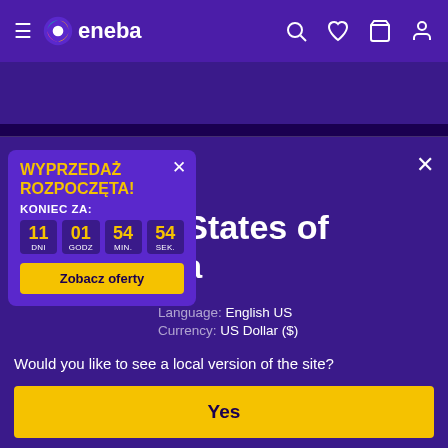[Figure (screenshot): Eneba website navigation bar with hamburger menu, Eneba logo (colorful bird icon), and right-side icons for search, wishlist, cart, and account on purple background]
[Figure (logo): Trustpilot logo with green star and white Trustpilot text on dark purple background]
in
d States of ica
Language: English US
Currency: US Dollar ($)
Would you like to see a local version of the site?
[Figure (screenshot): Popup overlay with yellow text WYPRZEDAŻ ROZPOCZĘTA!, countdown timer showing 11 DNI 01 GODZ 54 MIN 54 SEK, and yellow Zobacz oferty button]
Yes